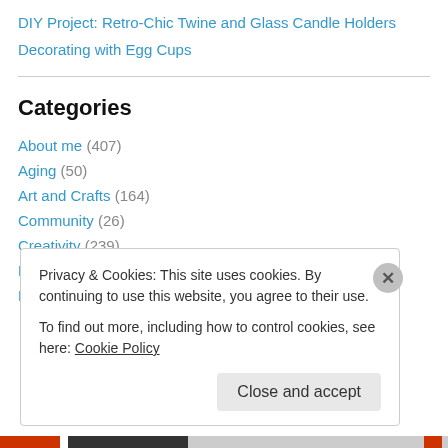DIY Project: Retro-Chic Twine and Glass Candle Holders
Decorating with Egg Cups
Categories
About me (407)
Aging (50)
Art and Crafts (164)
Community (26)
Creativity (239)
Entertainment (79)
Environment and Ecology (60)
Privacy & Cookies: This site uses cookies. By continuing to use this website, you agree to their use. To find out more, including how to control cookies, see here: Cookie Policy